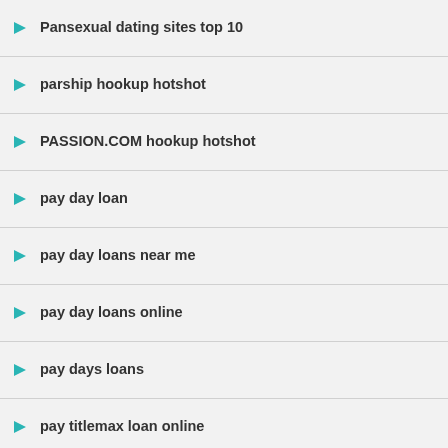Pansexual dating sites top 10
parship hookup hotshot
PASSION.COM hookup hotshot
pay day loan
pay day loans near me
pay day loans online
pay days loans
pay titlemax loan online
payday advance loans
payday loan
payday loan near me
payday loan online same day